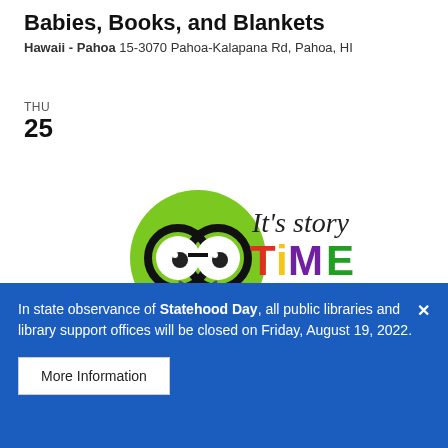Babies, Books, and Blankets
Hawaii - Pahoa 15-3070 Pahoa-Kalapana Rd, Pahoa, HI
THU
25
[Figure (illustration): Colorful story time illustration showing a cartoon green worm with large glasses reading a blue book, with text 'It's story TiME' in colorful letters, and colorful circles (red, yellow, green, navy, purple) in the background.]
In state observance of Statehood Day, all public libraries and library support offices will be closed on Friday, August 19, 2022.
More Information